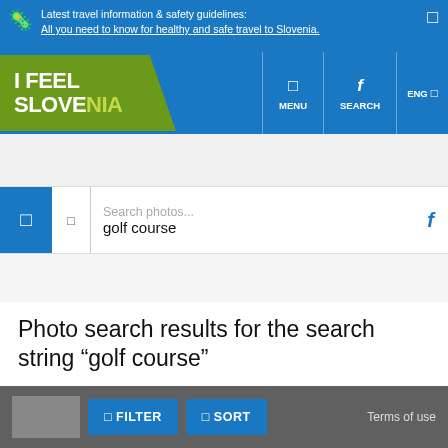Latest travel information & safety guidelines: All you need to know for healthy and safe travel to Slovenia.
[Figure (screenshot): I FEEL SLOVENIA website logo and navigation bar with MENU, SEARCH, and ENG options]
[Figure (screenshot): Search bar with placeholder text 'Search photos...' and query text 'golf course']
Photo search results for the search string “golf course”
FILTER   SORT   Terms of use